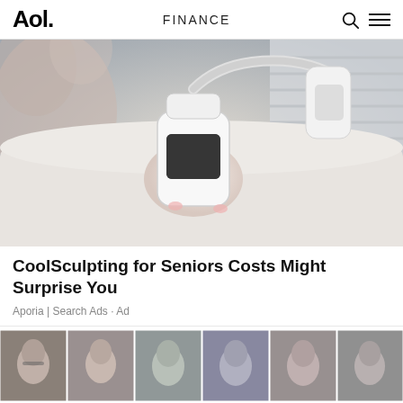Aol. | FINANCE
[Figure (photo): Close-up photo of a medical professional holding a CoolSculpting device against a patient's body during a cosmetic treatment procedure]
CoolSculpting for Seniors Costs Might Surprise You
Aporia | Search Ads · Ad
[Figure (photo): Grid of 12 black-and-white portrait photos of various people arranged in 2 rows of 6 columns, appearing to be yearbook-style headshots]